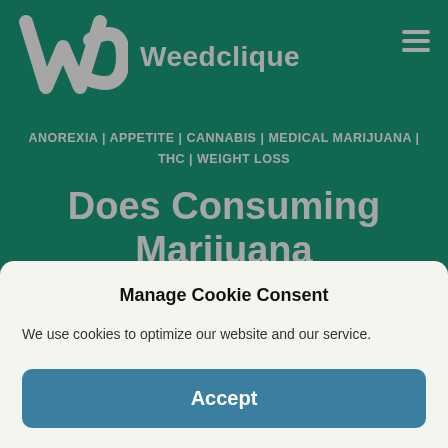[Figure (logo): Weedclique logo: stylized W C letters in white on green background with site name 'Weedclique']
ANOREXIA | APPETITE | CANNABIS | MEDICAL MARIJUANA | THC | WEIGHT LOSS
Does Consuming Marijuana Help You Lose Or Gain Weight? – The Fresh Toast
Manage Cookie Consent
We use cookies to optimize our website and our service.
Accept